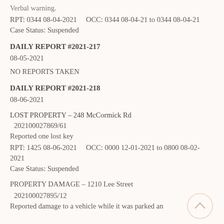Verbal warning.
RPT: 0344 08-04-2021    OCC: 0344 08-04-21 to 0344 08-04-21
Case Status: Suspended
DAILY REPORT #2021-217
08-05-2021
NO REPORTS TAKEN
DAILY REPORT #2021-218
08-06-2021
LOST PROPERTY – 248 McCormick Rd
 202100027869/61
Reported one lost key
RPT: 1425 08-06-2021    OCC: 0000 12-01-2021 to 0800 08-02-2021
Case Status: Suspended
PROPERTY DAMAGE – 1210 Lee Street
 202100027895/12
Reported damage to a vehicle while it was parked an